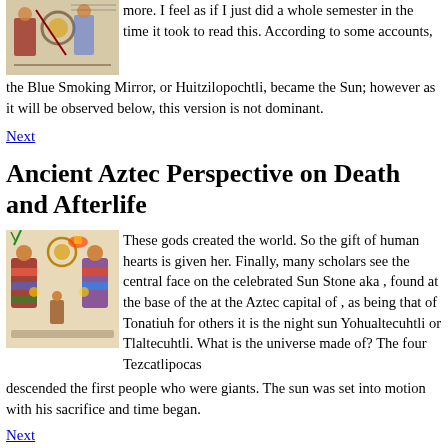[Figure (illustration): Ancient Aztec illustration showing deity figures with circular ornaments and traditional regalia]
more. I feel as if I just did a whole semester in the time it took to read this. According to some accounts, the Blue Smoking Mirror, or Huitzilopochtli, became the Sun; however as it will be observed below, this version is not dominant.
Next
Ancient Aztec Perspective on Death and Afterlife
[Figure (illustration): Colorful Aztec codex illustration showing multiple deity figures in traditional dress with ceremonial items]
These gods created the world. So the gift of human hearts is given her. Finally, many scholars see the central face on the celebrated Sun Stone aka , found at the base of the at the Aztec capital of , as being that of Tonatiuh for others it is the night sun Yohualtecuhtli or Tlaltecuhtli. What is the universe made of? The four Tezcatlipocas descended the first people who were giants. The sun was set into motion with his sacrifice and time began.
Next